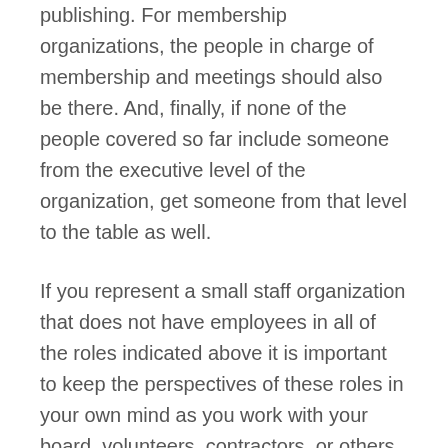publishing. For membership organizations, the people in charge of membership and meetings should also be there. And, finally, if none of the people covered so far include someone from the executive level of the organization, get someone from that level to the table as well.
If you represent a small staff organization that does not have employees in all of the roles indicated above it is important to keep the perspectives of these roles in your own mind as you work with your board, volunteers, contractors, or others who may be involved.
To choose a learning management system you will, of course, also need to get input from learners. This should typically include a combination of surveying and brief interviews to get at answers to questions like those posed